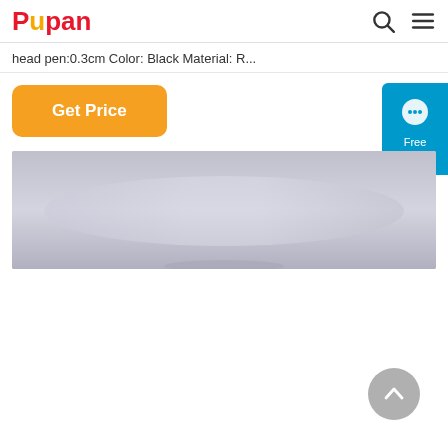Pupan
head pen:0.3cm Color: Black Material: R...
Get Price
[Figure (screenshot): Product image area showing a light gray/lavender background with a partial view of a product at the bottom edge]
[Figure (infographic): Blue Free Chat widget button on the right side with a chat bubble icon, text reading Free Chat]